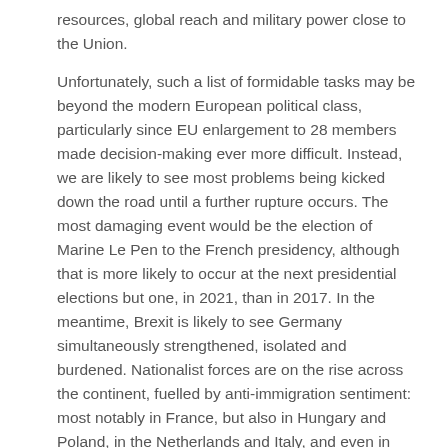resources, global reach and military power close to the Union.
Unfortunately, such a list of formidable tasks may be beyond the modern European political class, particularly since EU enlargement to 28 members made decision-making ever more difficult. Instead, we are likely to see most problems being kicked down the road until a further rupture occurs. The most damaging event would be the election of Marine Le Pen to the French presidency, although that is more likely to occur at the next presidential elections but one, in 2021, than in 2017. In the meantime, Brexit is likely to see Germany simultaneously strengthened, isolated and burdened. Nationalist forces are on the rise across the continent, fuelled by anti-immigration sentiment: most notably in France, but also in Hungary and Poland, in the Netherlands and Italy, and even in Germany. There is an erosion of support for the EU institutions across southern Europe. The prospect of Brexit will also awaken fears in Central and Eastern Europe of the exit negotiations turning acrimonious, alienating the UK from the EU, and undermining its commitment to the defence of Europe.
The European Causes of the Brexit Vote